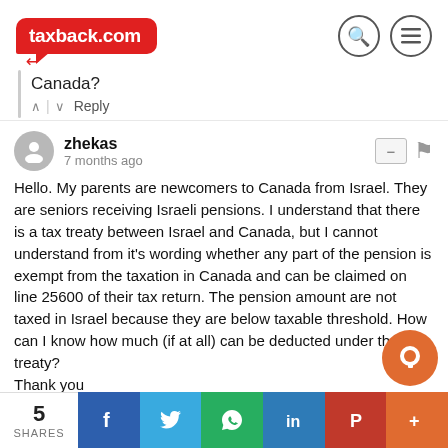[Figure (logo): taxback.com logo — red speech bubble with white text]
Canada?
^ | v   Reply
zhekas
7 months ago
Hello. My parents are newcomers to Canada from Israel. They are seniors receiving Israeli pensions. I understand that there is a tax treaty between Israel and Canada, but I cannot understand from it's wording whether any part of the pension is exempt from the taxation in Canada and can be claimed on line 25600 of their tax return. The pension amount are not taxed in Israel because they are below taxable threshold. How can I know how much (if at all) can be deducted under the treaty?
Thank you
5 SHARES  [Facebook] [Twitter] [WhatsApp] [LinkedIn] [Pinterest] [+]